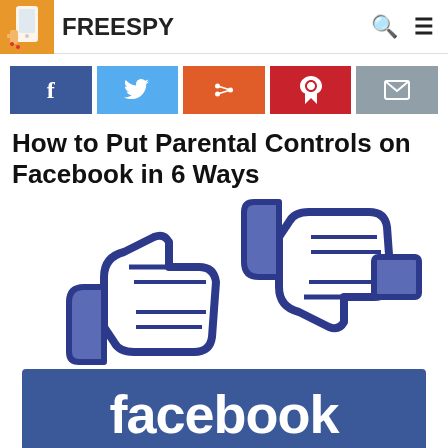FREESPY
[Figure (infographic): Social media share buttons: Facebook (blue), Twitter (light blue), Reddit (orange-red), Pinterest (red), Email (grey)]
How to Put Parental Controls on Facebook in 6 Ways
[Figure (illustration): Facebook thumbs up and thumbs down icons above a blue Facebook logo banner]
How to Put Parental Controls on Facebook in 6